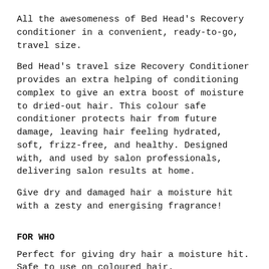All the awesomeness of Bed Head's Recovery conditioner in a convenient, ready-to-go, travel size.
Bed Head's travel size Recovery Conditioner provides an extra helping of conditioning complex to give an extra boost of moisture to dried-out hair. This colour safe conditioner protects hair from future damage, leaving hair feeling hydrated, soft, frizz-free, and healthy. Designed with, and used by salon professionals, delivering salon results at home.
Give dry and damaged hair a moisture hit with a zesty and energising fragrance!
FOR WHO
Perfect for giving dry hair a moisture hit. Safe to use on coloured hair.